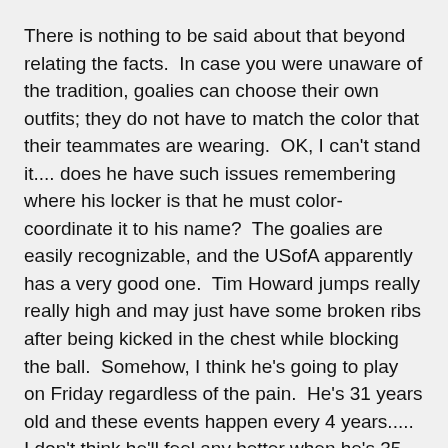There is nothing to be said about that beyond relating the facts.  In case you were unaware of the tradition, goalies can choose their own outfits; they do not have to match the color that their teammates are wearing.  OK, I can't stand it.... does he have such issues remembering where his locker is that he must color-coordinate it to his name?  The goalies are easily recognizable, and the USofA apparently has a very good one.  Tim Howard jumps really really high and may just have some broken ribs after being kicked in the chest while blocking the ball.  Somehow, I think he's going to play on Friday regardless of the pain.  He's 31 years old and these events happen every 4 years..... I don't think he'll feel any better when he's 35, do you?
The pros are prone to acting fouls.  There's lots of flopping on the ground, especially if the ref is right there to hear your moans and groans.  Surprisingly, most of the players pop right back up if a foul isn't called.  You don't see NFL or NBA players writhing for effect, but this is not an American game.  Is there something to be deduced from this?  I wonder.  I'm reminded of the British chastising America for coming down